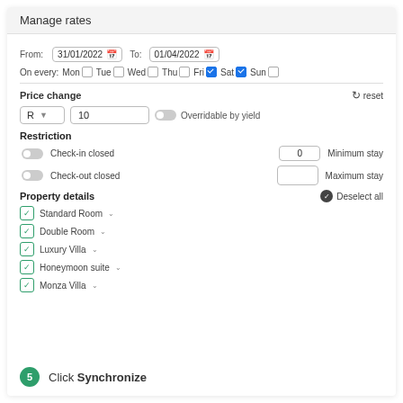Manage rates
From: 31/01/2022  To: 01/04/2022
On every: Mon Tue Wed Thu Fri (checked) Sat (checked) Sun
Price change
R  10   Overridable by yield
Restriction
Check-in closed   0  Minimum stay
Check-out closed     Maximum stay
Property details
Deselect all
Standard Room
Double Room
Luxury Villa
Honeymoon suite
Monza Villa
5  Click Synchronize